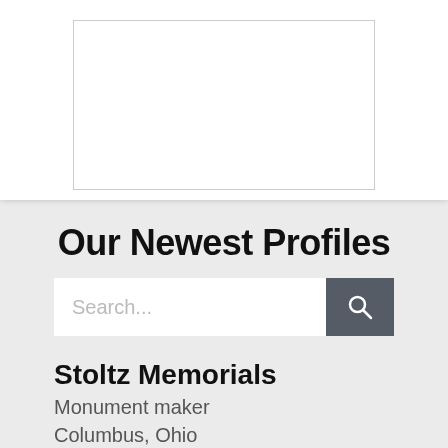[Figure (other): White rectangle image placeholder with thin gray border]
Our Newest Profiles
Search...
Stoltz Memorials
Monument maker
Columbus, Ohio